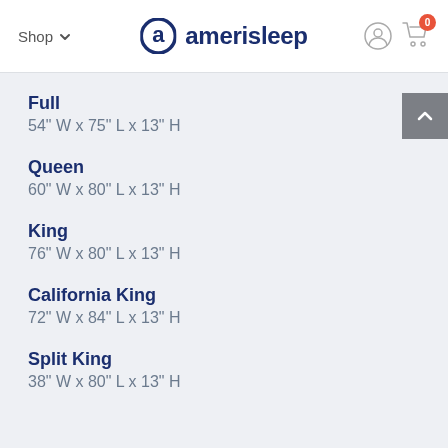Shop — amerisleep
Full
54" W x 75" L x 13" H
Queen
60" W x 80" L x 13" H
King
76" W x 80" L x 13" H
California King
72" W x 84" L x 13" H
Split King
38" W x 80" L x 13" H